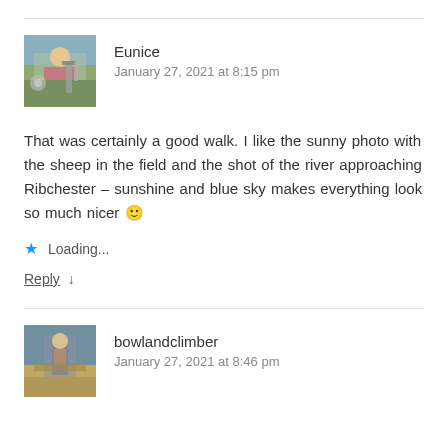Eunice
January 27, 2021 at 8:15 pm
That was certainly a good walk. I like the sunny photo with the sheep in the field and the shot of the river approaching Ribchester – sunshine and blue sky makes everything look so much nicer 🙂
★ Loading...
Reply ↓
bowlandclimber
January 27, 2021 at 8:46 pm